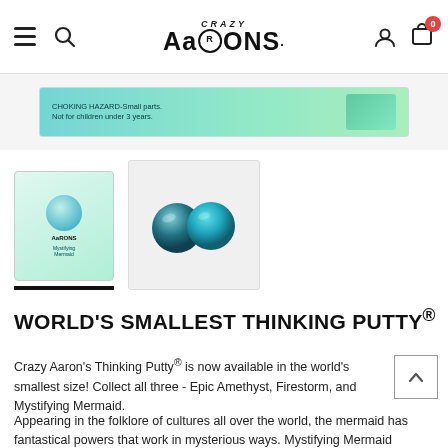Crazy Aaron's navigation header with hamburger menu, search, logo, user account and cart (0 items)
[Figure (photo): Product packaging strip showing teal/green Crazy Aaron's Thinking Putty packaging with safety warning text]
[Figure (photo): Thumbnail 1: Crazy Aaron's Mystifying Mermaid World's Smallest Thinking Putty product card with teal putty image]
[Figure (photo): Thumbnail 2: Close-up of two small teal/blue spherical putty pieces on white background]
WORLD'S SMALLEST THINKING PUTTY®
Crazy Aaron's Thinking Putty® is now available in the world's smallest size! Collect all three - Epic Amethyst, Firestorm, and Mystifying Mermaid.
Appearing in the folklore of cultures all over the world, the mermaid has fantastical powers that work in mysterious ways. Mystifying Mermaid Thinking